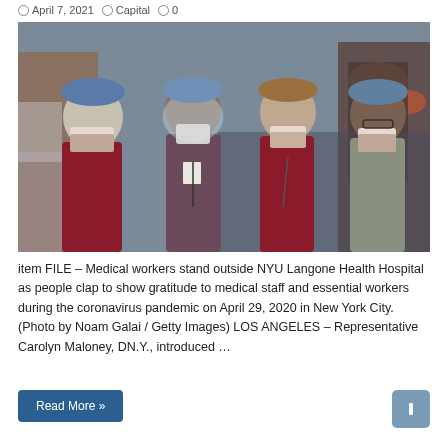April 7, 2021   Capital   0
[Figure (photo): Four medical workers wearing scrubs, surgical caps, and face masks standing outside NYU Langone Health Hospital on a city street. They are posing together in a group photo.]
item FILE – Medical workers stand outside NYU Langone Health Hospital as people clap to show gratitude to medical staff and essential workers during the coronavirus pandemic on April 29, 2020 in New York City. (Photo by Noam Galai / Getty Images) LOS ANGELES – Representative Carolyn Maloney, DN.Y., introduced …
Read More »